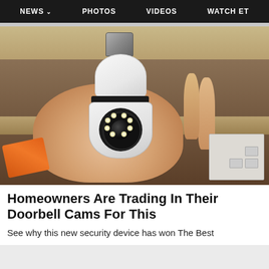NEWS  PHOTOS  VIDEOS  WATCH ET
[Figure (photo): A hand holding a white security camera shaped like a light bulb with a lens and LED ring, set against a wooden shelf background with an orange object and box visible]
Homeowners Are Trading In Their Doorbell Cams For This
See why this new security device has won The Best